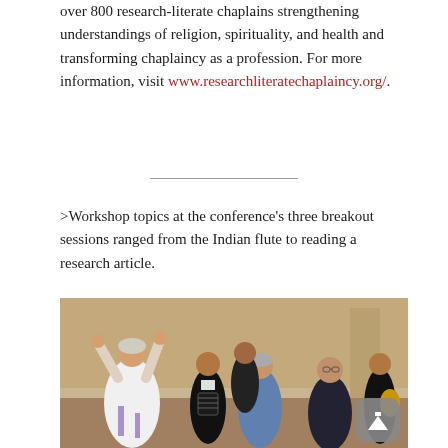over 800 research-literate chaplains strengthening understandings of religion, spirituality, and health and transforming chaplaincy as a profession. For more information, visit www.researchliteratechaplaincy.org/.
>Workshop topics at the conference's three breakout sessions ranged from the Indian flute to reading a research article.
[Figure (photo): A group of people at a conference or event. On the left, a person in a white ceremonial robe with purple embroidery raises both hands. In the center and background, several people in black mariachi-style outfits, one playing an accordion and another a guitar. A person in a blue shirt stands facing right, and another man in a suit faces the camera.]